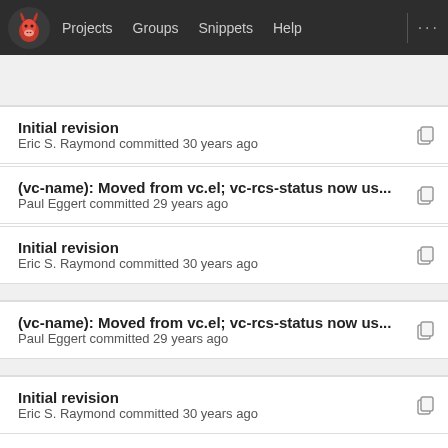Projects  Groups  Snippets  Help  ...
Initial revision
Eric S. Raymond committed 30 years ago
(vc-name): Moved from vc.el; vc-rcs-status now us...
Paul Eggert committed 29 years ago
Initial revision
Eric S. Raymond committed 30 years ago
(vc-name): Moved from vc.el; vc-rcs-status now us...
Paul Eggert committed 29 years ago
Initial revision
Eric S. Raymond committed 30 years ago